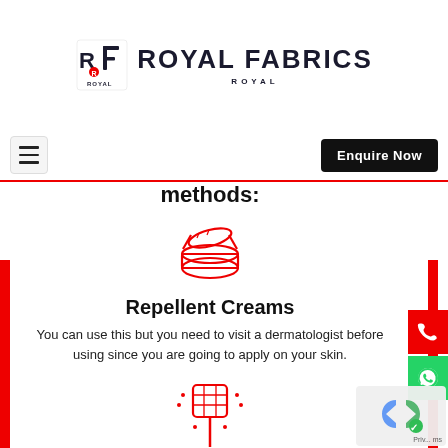ROYAL FABRICS
methods:
[Figure (illustration): Red line-art icon of a cream/ointment jar with lid open]
Repellent Creams
You can use this but you need to visit a dermatologist before using since you are going to apply on your skin.
[Figure (illustration): Red line-art icon of a mosquito bat/racket with dots around it]
Mosquito Bats